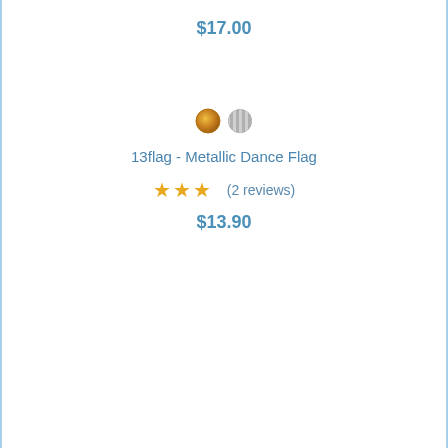$17.00
[Figure (other): Two color swatches: a gold/bronze metallic circle and a silver striped circle]
13flag - Metallic Dance Flag
★★★ (2 reviews)
$13.90